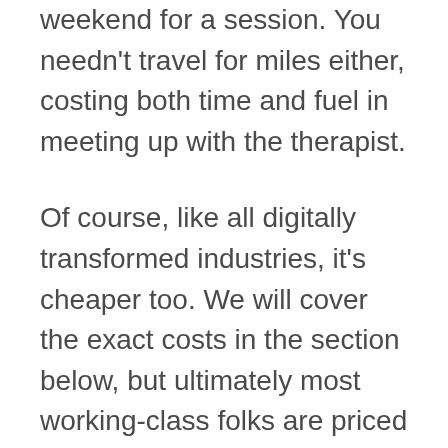weekend for a session. You needn't travel for miles either, costing both time and fuel in meeting up with the therapist.
Of course, like all digitally transformed industries, it's cheaper too. We will cover the exact costs in the section below, but ultimately most working-class folks are priced out of traditional therapy, whilst almost anyone can afford online therapy. You can also change therapists more easily, and change